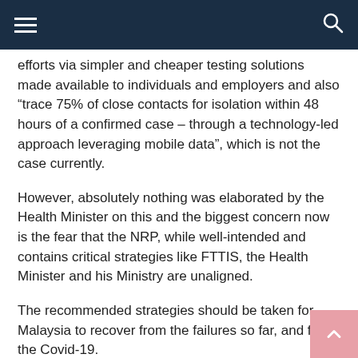Navigation bar with hamburger menu and search icon
efforts via simpler and cheaper testing solutions made available to individuals and employers and also “trace 75% of close contacts for isolation within 48 hours of a confirmed case – through a technology-led approach leveraging mobile data”, which is not the case currently.
However, absolutely nothing was elaborated by the Health Minister on this and the biggest concern now is the fear that the NRP, while well-intended and contains critical strategies like FTTIS, the Health Minister and his Ministry are unaligned.
The recommended strategies should be taken for Malaysia to recover from the failures so far, and fight the Covid-19.
Share this article